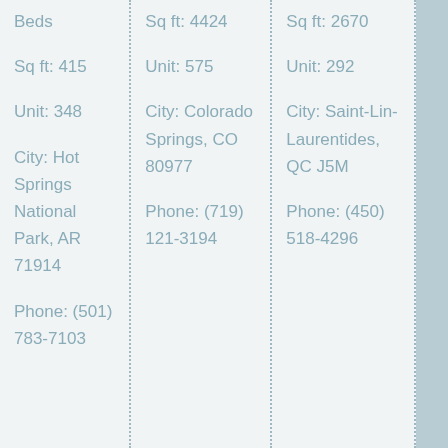Sq ft: 415
Unit: 348
City: Hot Springs National Park, AR 71914
Phone: (501) 783-7103
Sq ft: 4424
Unit: 575
City: Colorado Springs, CO 80977
Phone: (719) 121-3194
Sq ft: 2670
Unit: 292
City: Saint-Lin-Laurentides, QC J5M
Phone: (450) 518-4296